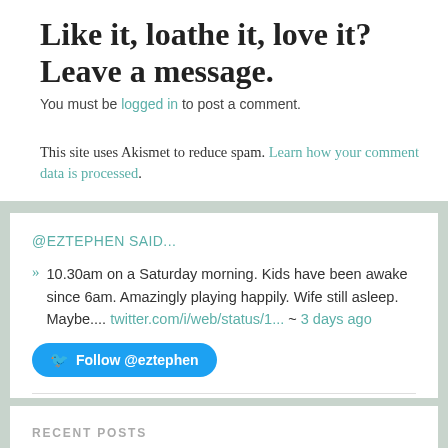Like it, loathe it, love it? Leave a message.
You must be logged in to post a comment.
This site uses Akismet to reduce spam. Learn how your comment data is processed.
@EZTEPHEN SAID...
10.30am on a Saturday morning. Kids have been awake since 6am. Amazingly playing happily. Wife still asleep. Maybe.... twitter.com/i/web/status/1... ~ 3 days ago
[Figure (other): Twitter Follow button for @eztephen]
RECENT POSTS
For My Wife